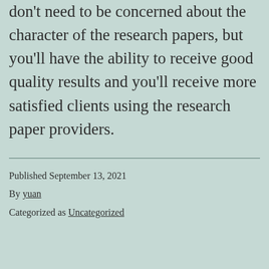don't need to be concerned about the character of the research papers, but you'll have the ability to receive good quality results and you'll receive more satisfied clients using the research paper providers.
Published September 13, 2021
By yuan
Categorized as Uncategorized